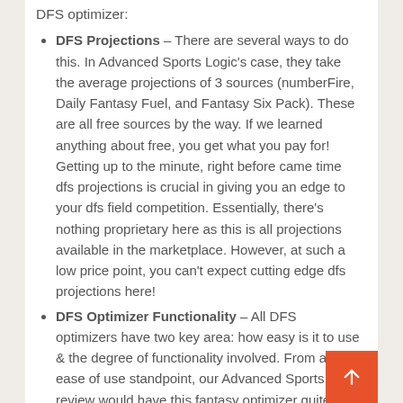DFS optimizer:
DFS Projections – There are several ways to do this. In Advanced Sports Logic's case, they take the average projections of 3 sources (numberFire, Daily Fantasy Fuel, and Fantasy Six Pack). These are all free sources by the way. If we learned anything about free, you get what you pay for! Getting up to the minute, right before came time dfs projections is crucial in giving you an edge to your dfs field competition. Essentially, there's nothing proprietary here as this is all projections available in the marketplace. However, at such a low price point, you can't expect cutting edge dfs projections here!
DFS Optimizer Functionality – All DFS optimizers have two key area: how easy is it to use & the degree of functionality involved. From an ease of use standpoint, our Advanced Sports Logic review would have this fantasy optimizer quite easy to use. From a functionality standpoint however, it doesn't have anywhere near the functionality that many of the newer robust DFS